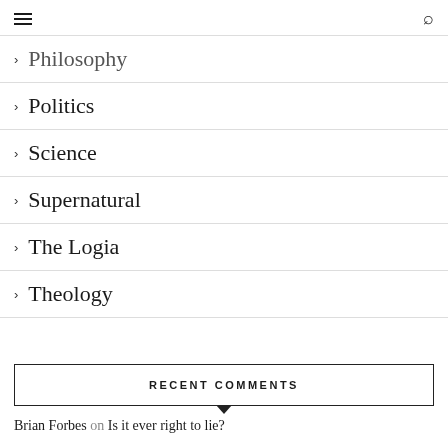≡  🔍
> Philosophy
> Politics
> Science
> Supernatural
> The Logia
> Theology
RECENT COMMENTS
Brian Forbes on Is it ever right to lie?